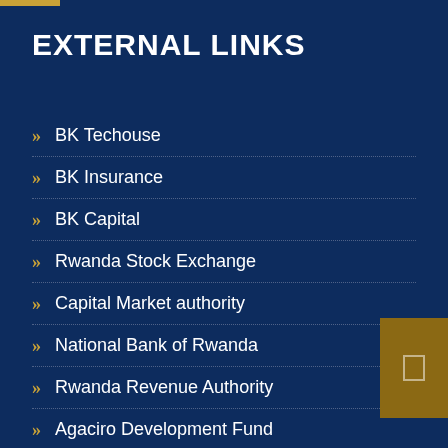EXTERNAL LINKS
BK Tecthouse
BK Insurance
BK Capital
Rwanda Stock Exchange
Capital Market authority
National Bank of Rwanda
Rwanda Revenue Authority
Agaciro Development Fund
Rwanda Development Board